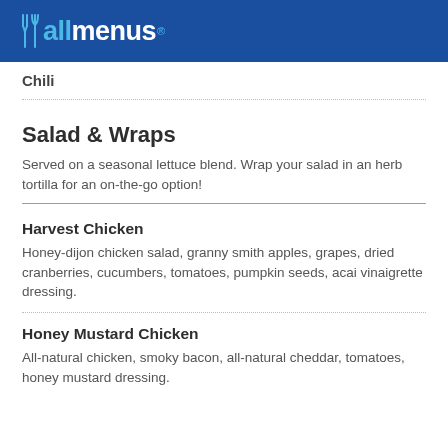allmenus
Chili
Salad & Wraps
Served on a seasonal lettuce blend. Wrap your salad in an herb tortilla for an on-the-go option!
Harvest Chicken
Honey-dijon chicken salad, granny smith apples, grapes, dried cranberries, cucumbers, tomatoes, pumpkin seeds, acai vinaigrette dressing.
Honey Mustard Chicken
All-natural chicken, smoky bacon, all-natural cheddar, tomatoes, honey mustard dressing.